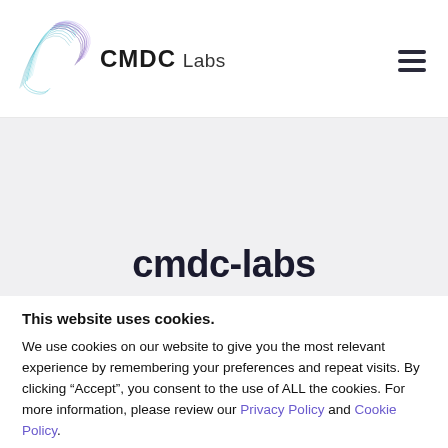CMDC Labs
cmdc-labs
This website uses cookies.
We use cookies on our website to give you the most relevant experience by remembering your preferences and repeat visits. By clicking “Accept”, you consent to the use of ALL the cookies. For more information, please review our Privacy Policy and Cookie Policy.
Do not sell my personal information.